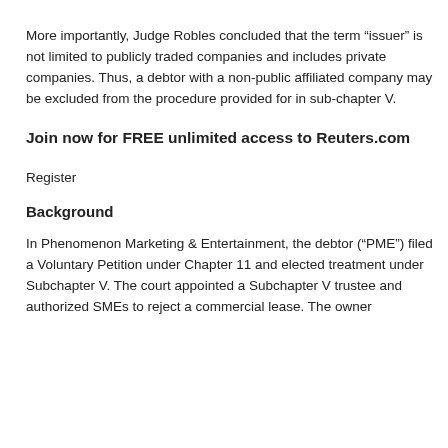More importantly, Judge Robles concluded that the term “issuer” is not limited to publicly traded companies and includes private companies. Thus, a debtor with a non-public affiliated company may be excluded from the procedure provided for in sub-chapter V.
Join now for FREE unlimited access to Reuters.com
Register
Background
In Phenomenon Marketing & Entertainment, the debtor (“PME”) filed a Voluntary Petition under Chapter 11 and elected treatment under Subchapter V. The court appointed a Subchapter V trustee and authorized SMEs to reject a commercial lease. The owner